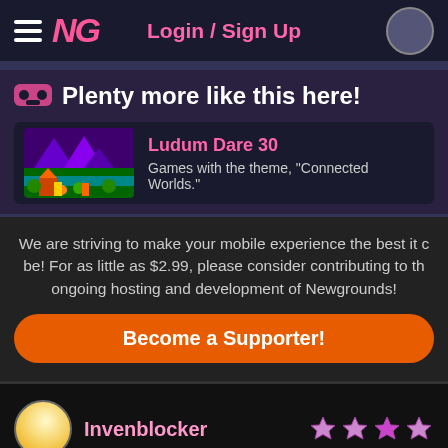Login / Sign Up
Plenty more like this here!
Ludum Dare 30
Games with the theme, "Connected Worlds."
We are striving to make your mobile experience the best it can be! For as little as $2.99, please consider contributing to the ongoing hosting and development of Newgrounds!
Become a Supporter!
Invenblocker
The level design is pretty good, and every other level